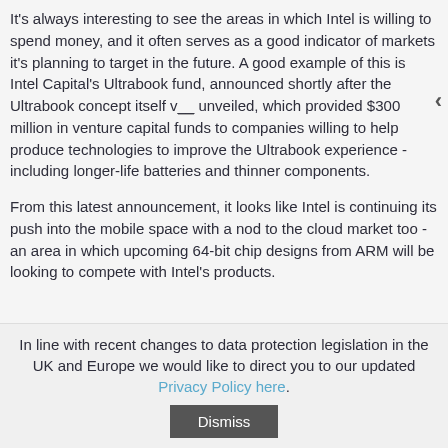It's always interesting to see the areas in which Intel is willing to spend money, and it often serves as a good indicator of markets it's planning to target in the future. A good example of this is Intel Capital's Ultrabook fund, announced shortly after the Ultrabook concept itself was unveiled, which provided $300 million in venture capital funds to companies willing to help produce technologies to improve the Ultrabook experience - including longer-life batteries and thinner components.
From this latest announcement, it looks like Intel is continuing its push into the mobile space with a nod to the cloud market too - an area in which upcoming 64-bit chip designs from ARM will be looking to compete with Intel's products.
In line with recent changes to data protection legislation in the UK and Europe we would like to direct you to our updated Privacy Policy here.